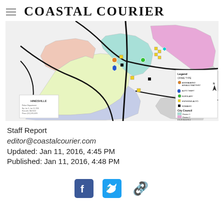Coastal Courier
[Figure (map): Hinesville city crime map showing crime incidents by type (Aggravated Assault/Battery, Auto Theft, Burglary, Entering Auto, Robbery) overlaid on City Council districts (Districts 1-5) with legend and north arrow. Map shows colored regions for each district with crime marker icons.]
Staff Report
editor@coastalcourier.com
Updated: Jan 11, 2016, 4:45 PM
Published: Jan 11, 2016, 4:48 PM